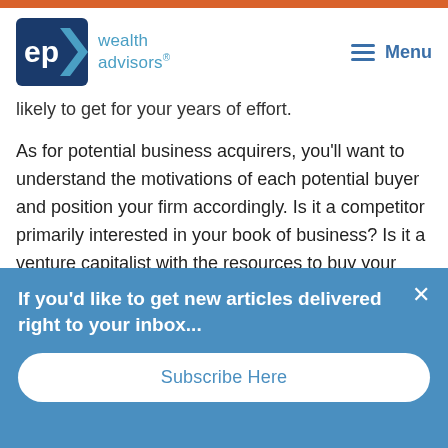[Figure (logo): EP Wealth Advisors logo with blue arrow icon and teal text]
Menu
likely to get for your years of effort.
As for potential business acquirers, you'll want to understand the motivations of each potential buyer and position your firm accordingly. Is it a competitor primarily interested in your book of business? Is it a venture capitalist with the resources to buy your company and then invest in building up its value? Or is it a young entrepreneur able to secure a loan to help them use your company as the launching pad for the dream they plan to build?
If you'd like to get new articles delivered right to your inbox...
Subscribe Here